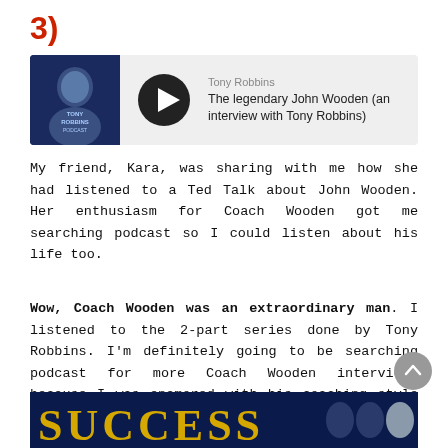3)
[Figure (screenshot): Tony Robbins Podcast widget showing episode 'The legendary John Wooden (an interview with Tony Robbins)' with play button and thumbnail]
My friend, Kara, was sharing with me how she had listened to a Ted Talk about John Wooden. Her enthusiasm for Coach Wooden got me searching podcast so I could listen about his life too.
Wow, Coach Wooden was an extraordinary man. I listened to the 2-part series done by Tony Robbins. I'm definitely going to be searching podcast for more Coach Wooden interviews because I was enamored with his coaching style and his take on life.
To listen the interview go here. Coach Wooden passed away in 2010 but his lessons are still relevant today.
[Figure (screenshot): Bottom banner image showing 'SUCCESS' text in gold on dark blue background with faces]